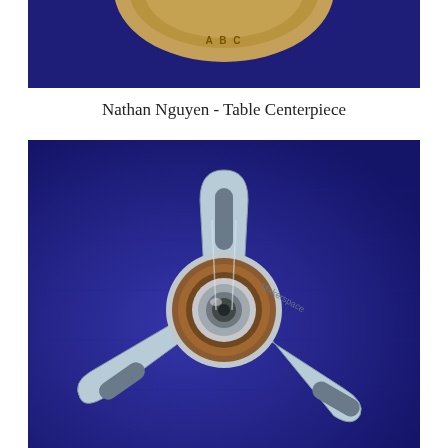[Figure (photo): Partial view of a wooden circular object (table centerpiece) on a dark navy blue background, only the bottom arc visible at top of page]
Nathan Nguyen - Table Centerpiece
[Figure (photo): A silver/galvanized metal three-arm bracket with a ball bearing in the center and text 'Makerspace' engraved on it, photographed on a dark navy blue fabric background. Each arm has a rectangular slot near the end.]